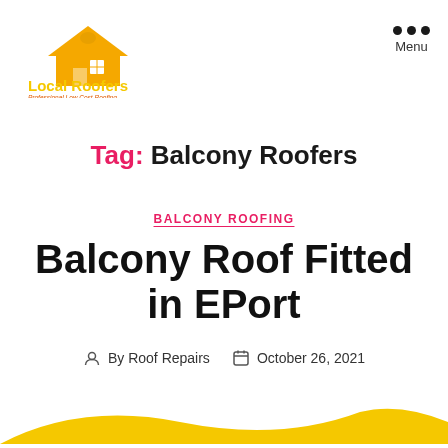[Figure (logo): Local Roofers logo with house/bird icon in yellow/orange, text 'Local Roofers' in yellow and 'Professional Low Cost Roofing' in orange below]
Menu
Tag: Balcony Roofers
BALCONY ROOFING
Balcony Roof Fitted in EPort
By Roof Repairs   October 26, 2021